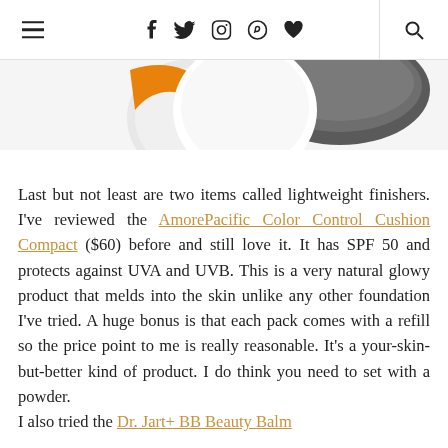navigation bar with hamburger menu, social icons (f, twitter, instagram, pinterest, heart), and search
[Figure (photo): Partial view of cosmetic compact containers, one orange-lidded and one dark grey/black, on a white background]
Last but not least are two items called lightweight finishers. I've reviewed the AmorePacific Color Control Cushion Compact ($60) before and still love it. It has SPF 50 and protects against UVA and UVB. This is a very natural glowy product that melds into the skin unlike any other foundation I've tried. A huge bonus is that each pack comes with a refill so the price point to me is really reasonable. It's a your-skin-but-better kind of product. I do think you need to set with a powder.
I also tried the Dr. Jart+ BB Beauty Balm